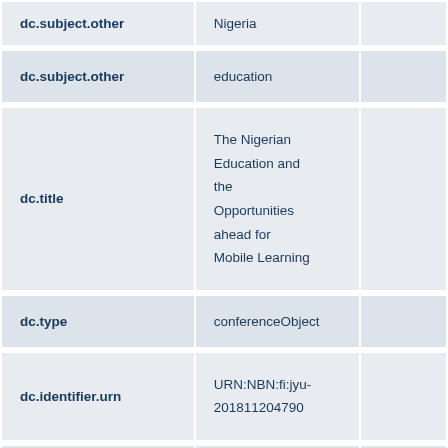| Field | Value |  |
| --- | --- | --- |
| dc.subject.other | Nigeria |  |
| dc.subject.other | education |  |
| dc.title | The Nigerian Education and the Opportunities ahead for Mobile Learning |  |
| dc.type | conferenceObject |  |
| dc.identifier.urn | URN:NBN:fi:jyu-201811204790 |  |